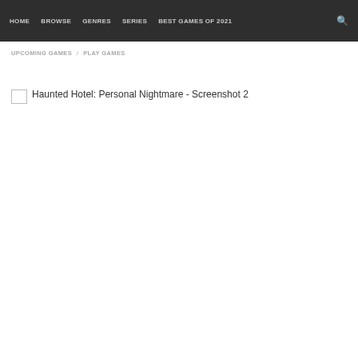HOME  BROWSE  GENRES  SERIES  BEST GAMES OF 2021  🔍
UPCOMING GAMES / PLAY GAMES
Haunted Hotel: Personal Nightmare - Screenshot 2